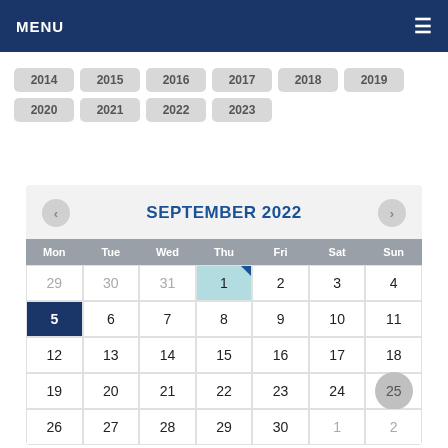MENU
2014 2015 2016 2017 2018 2019 2020 2021 2022 2023
[Figure (other): September 2022 calendar widget with navigation arrows, day-of-week header (Mon-Sun), date cells. Day 1 highlighted in teal, day 5 selected in dark blue, day 25 circled in gray. Days 29-31 from previous month shown in gray. Days 1-2 of next month shown in gray.]